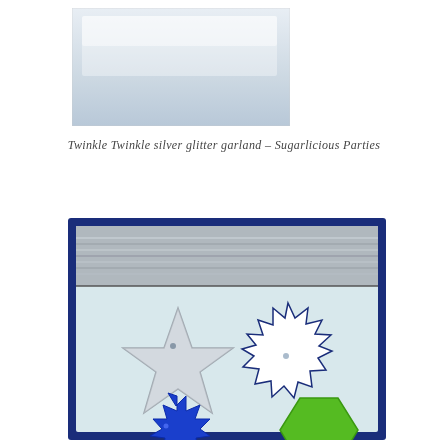[Figure (photo): A white/light rectangular photo showing what appears to be a reflective or metallic surface, possibly a gift bag or package with silver sheen.]
Twinkle Twinkle silver glitter garland – Sugarlicious Parties
[Figure (photo): A product photo showing a navy blue box containing a silver glitter garland at the top, a silver glitter star shape, a white starburst/sunburst shape, a blue starburst shape, and a green hexagon shape — party decoration kit components.]